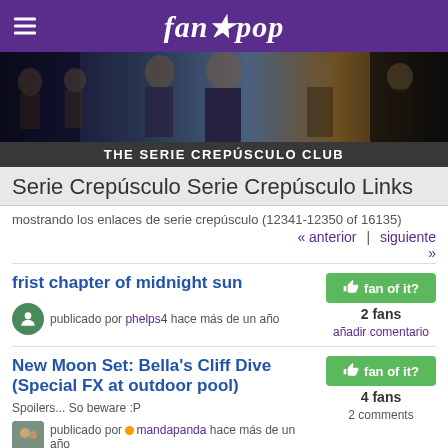fanpop
[Figure (photo): Twilight Saga cast collage banner image]
THE SERIE CREPÚSCULO CLUB
Serie Crepúsculo Serie Crepúsculo Links
mostrando los enlaces de serie crepúsculo (12341-12350 of 16135)
« anterior  |  siguiente »
frist chapter of midnight sun
publicado por phelps4 hace más de un año
fan of it? 2 fans añadir comentario
New Moon Set: Bella's Cliff Dive (Special FX at outdoor pool)
Spoilers... So beware :P
publicado por mandapanda hace más de un año
fan of it? 4 fans 2 comments
Melissa Rosenberg on Breaking Dawn Script, Signing Twilight Script